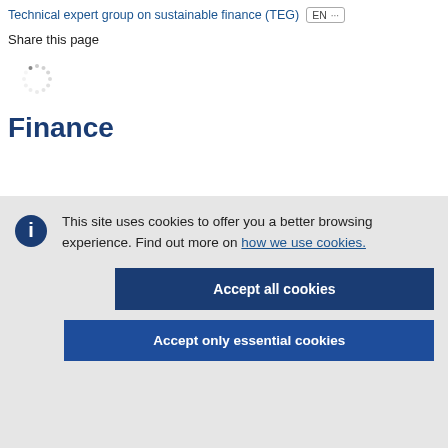Technical expert group on sustainable finance (TEG)  EN  ...
Share this page
[Figure (other): Loading spinner icon (dotted circle)]
Finance
This site uses cookies to offer you a better browsing experience. Find out more on how we use cookies.
Accept all cookies
Accept only essential cookies